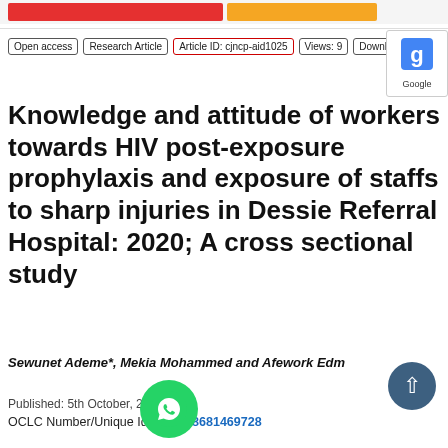[Figure (other): Red and orange navigation/tab bars at the top of the page]
Open access | Research Article | Article ID: cjncp-aid1025 | Views: 9 | Download
[Figure (logo): Google Scholar icon button]
Knowledge and attitude of workers towards HIV post-exposure prophylaxis and exposure of staffs to sharp injuries in Dessie Referral Hospital: 2020; A cross sectional study
Sewunet Ademe*, Mekia Mohammed and Afework Edm...
Published: 5th October, 2020
OCLC Number/Unique Identifier: 8681469728